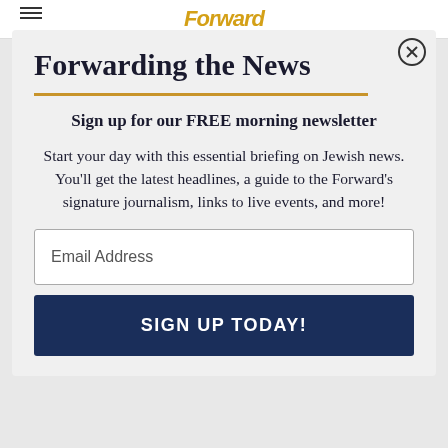Forward
Forwarding the News
Sign up for our FREE morning newsletter
Start your day with this essential briefing on Jewish news. You'll get the latest headlines, a guide to the Forward's signature journalism, links to live events, and more!
Email Address
SIGN UP TODAY!